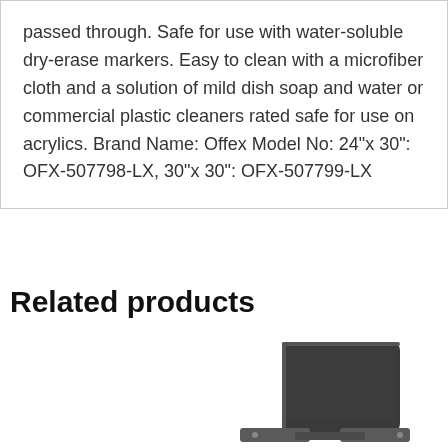passed through. Safe for use with water-soluble dry-erase markers. Easy to clean with a microfiber cloth and a solution of mild dish soap and water or commercial plastic cleaners rated safe for use on acrylics. Brand Name: Offex Model No: 24"x 30": OFX-507798-LX, 30"x 30": OFX-507799-LX
Related products
[Figure (photo): A dark gray/black rectangular panel product (desk divider or privacy screen) shown at an angle, with what appears to be a mounting bracket or base visible at the bottom.]